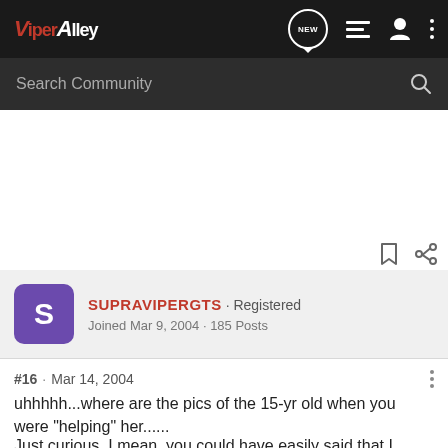ViperAlley
Search Community
SUPRAVIPERGTS · Registered
Joined Mar 9, 2004 · 185 Posts
#16 · Mar 14, 2004
uhhhhh...where are the pics of the 15-yr old when you were "helping" her......
Just curious, I mean, you could have easily said that I helped a